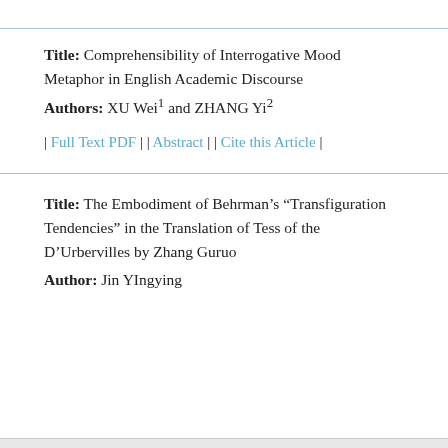Title: Comprehensibility of Interrogative Mood Metaphor in English Academic Discourse
Authors: XU Wei1 and ZHANG Yi2
| Full Text PDF | | Abstract | | Cite this Article |
Title: The Embodiment of Behrman's “Transfiguration Tendencies” in the Translation of Tess of the D’Urbervilles by Zhang Guruo
Author: Jin YIngying
Loading [MathJax]/jax/input/TeX/config.js  his Article |